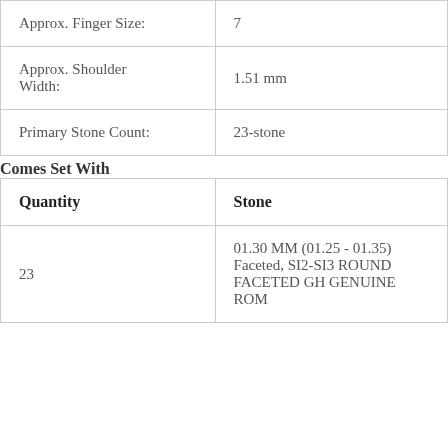| Approx. Finger Size: | 7 |
| Approx. Shoulder Width: | 1.51 mm |
| Primary Stone Count: | 23-stone |
Comes Set With
| Quantity | Stone |
| --- | --- |
| 23 | 01.30 MM (01.25 - 01.35) Faceted, SI2-SI3 ROUND FACETED GH GENUINE ROM |